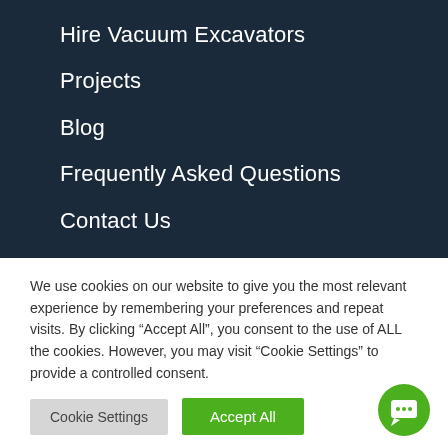Hire Vacuum Excavators
Projects
Blog
Frequently Asked Questions
Contact Us
We use cookies on our website to give you the most relevant experience by remembering your preferences and repeat visits. By clicking “Accept All”, you consent to the use of ALL the cookies. However, you may visit “Cookie Settings” to provide a controlled consent.
Cookie Settings | Accept All